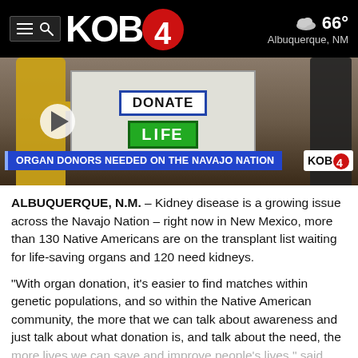KOB 4 — 66° Albuquerque, NM
[Figure (screenshot): Video thumbnail showing people holding a 'Donate Life' banner with lower-third chyron reading 'ORGAN DONORS NEEDED ON THE NAVAJO NATION' and KOB 4 logo badge]
ALBUQUERQUE, N.M. – Kidney disease is a growing issue across the Navajo Nation – right now in New Mexico, more than 130 Native Americans are on the transplant list waiting for life-saving organs and 120 need kidneys.
"With organ donation, it's easier to find matches within genetic populations, and so within the Native American community, the more that we can talk about awareness and just talk about what donation is, and talk about the need, the more lives we can save and improve people's lives," said Celina Espinoza, the external affairs director for New